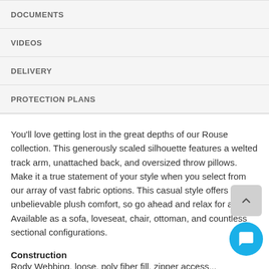DOCUMENTS
VIDEOS
DELIVERY
PROTECTION PLANS
You'll love getting lost in the great depths of our Rouse collection. This generously scaled silhouette features a welted track arm, unattached back, and oversized throw pillows. Make it a true statement of your style when you select from our array of vast fabric options. This casual style offers unbelievable plush comfort, so go ahead and relax for a while! Available as a sofa, loveseat, chair, ottoman, and countless sectional configurations.
Construction
Rody Webbing, loose, poly fiber fill, zipper access...